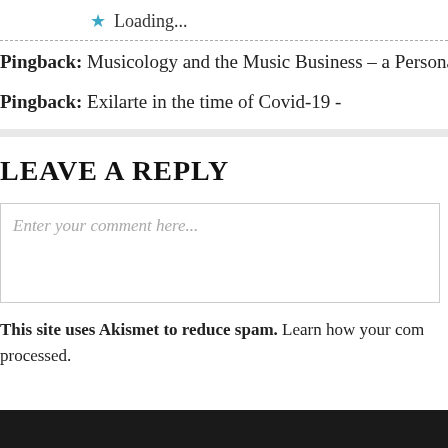★ Loading...
Pingback: Musicology and the Music Business – a Personal
Pingback: Exilarte in the time of Covid-19 -
LEAVE A REPLY
Enter your comment here...
This site uses Akismet to reduce spam. Learn how your comment data is processed.